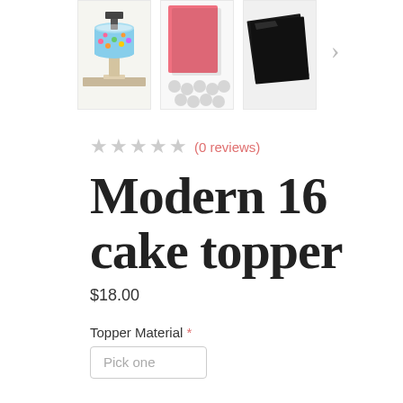[Figure (photo): Three product thumbnail images of a cake topper: first shows a decorated cake on a stand, second shows a pink foam/card sheet with circular dots, third shows a black acrylic square. An arrow chevron is visible to the right.]
★ ★ ★ ★ ★ (0 reviews)
Modern 16 cake topper
$18.00
Topper Material *
Pick one